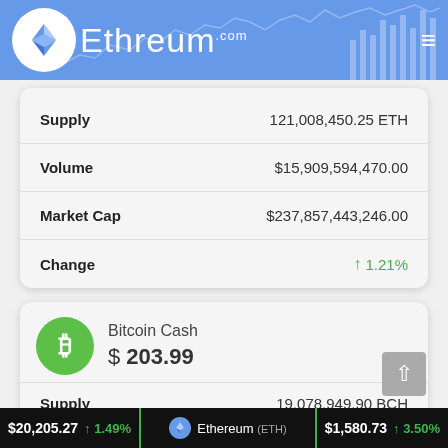Ethereum.com
|  |  |
| --- | --- |
| Supply | 121,008,450.25 ETH |
| Volume | $15,909,594,470.00 |
| Market Cap | $237,857,443,246.00 |
| Change | ↑ 1.21% |
Bitcoin Cash
$ 203.99
|  |  |
| --- | --- |
| Supply | 19,078,949.90 BCH |
| Volume | $962,957,998.00 |
$20,205.27 ↑ 1.49% Ethereum (ETH) $1,580.73 ↑ 3.50%